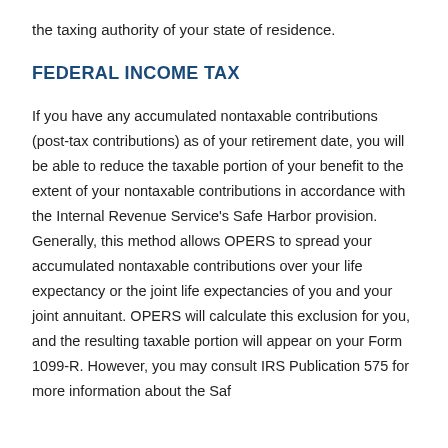the taxing authority of your state of residence.
FEDERAL INCOME TAX
If you have any accumulated nontaxable contributions (post-tax contributions) as of your retirement date, you will be able to reduce the taxable portion of your benefit to the extent of your nontaxable contributions in accordance with the Internal Revenue Service’s Safe Harbor provision. Generally, this method allows OPERS to spread your accumulated nontaxable contributions over your life expectancy or the joint life expectancies of you and your joint annuitant. OPERS will calculate this exclusion for you, and the resulting taxable portion will appear on your Form 1099-R. However, you may consult IRS Publication 575 for more information about the Saf